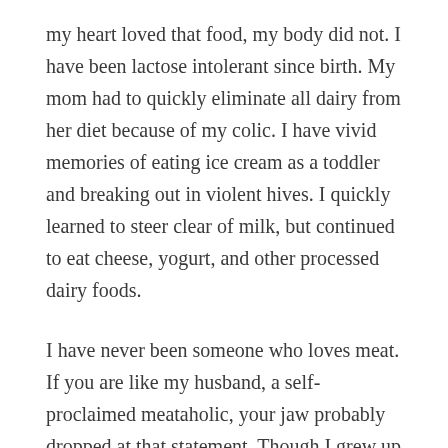my heart loved that food, my body did not. I have been lactose intolerant since birth. My mom had to quickly eliminate all dairy from her diet because of my colic. I have vivid memories of eating ice cream as a toddler and breaking out in violent hives. I quickly learned to steer clear of milk, but continued to eat cheese, yogurt, and other processed dairy foods.
I have never been someone who loves meat. If you are like my husband, a self-proclaimed meataholic, your jaw probably dropped at that statement. Though I grew up with barbecue meat, grilled meat, and deli meat, it never appealed to me. In fact, I've always loathed steak. So, at 20 years old, I decided to radically change my diet. I not only stopped consuming meat, but also rejected all animal products, becoming completely vegan. Yet one year in, at dinner with my boyfriend (now husband), I caved. I just